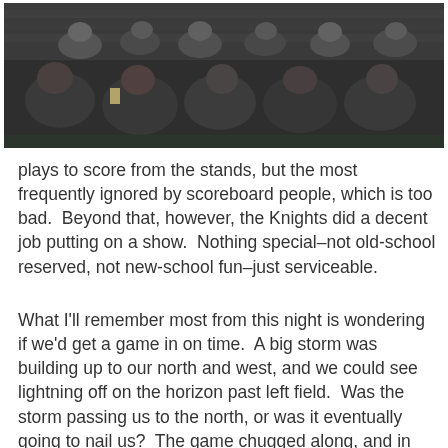[Figure (photo): Photograph of baseball stadium stands with spectators seated, viewed from field level, dark/evening atmosphere.]
plays to score from the stands, but the most frequently ignored by scoreboard people, which is too bad. Beyond that, however, the Knights did a decent job putting on a show. Nothing special–not old-school reserved, not new-school fun–just serviceable.
What I'll remember most from this night is wondering if we'd get a game in on time. A big storm was building up to our north and west, and we could see lightning off on the horizon past left field. Was the storm passing us to the north, or was it eventually going to nail us? The game chugged along, and in spite of the light show, it was rain free. But when Charlotte tied the game in the bottom of the eighth, and extra innings became imminent, well, it became unlikely we'd get to see the game end. The umpires held out through some impressive rain in the bottom of the 10th as the Knights got two on with one out…but a double-play ended the